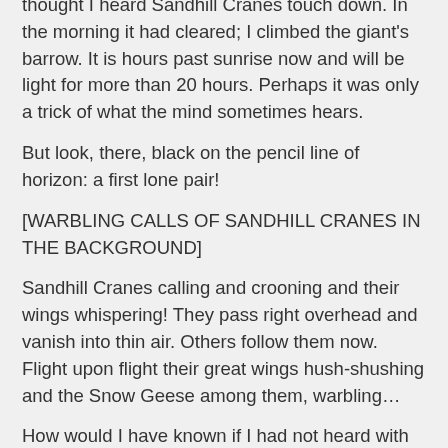thought I heard Sandhill Cranes touch down. In the morning it had cleared; I climbed the giant's barrow. It is hours past sunrise now and will be light for more than 20 hours. Perhaps it was only a trick of what the mind sometimes hears.
But look, there, black on the pencil line of horizon: a first lone pair!
[WARBLING CALLS OF SANDHILL CRANES IN THE BACKGROUND]
Sandhill Cranes calling and crooning and their wings whispering! They pass right overhead and vanish into thin air. Others follow them now. Flight upon flight their great wings hush-shushing and the Snow Geese among them, warbling…
How would I have known if I had not heard with my own